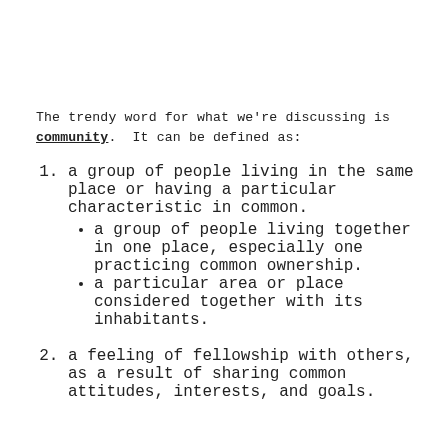The trendy word for what we're discussing is community. It can be defined as:
1. a group of people living in the same place or having a particular characteristic in common.
• a group of people living together in one place, especially one practicing common ownership.
• a particular area or place considered together with its inhabitants.
2. a feeling of fellowship with others, as a result of sharing common attitudes, interests, and goals.